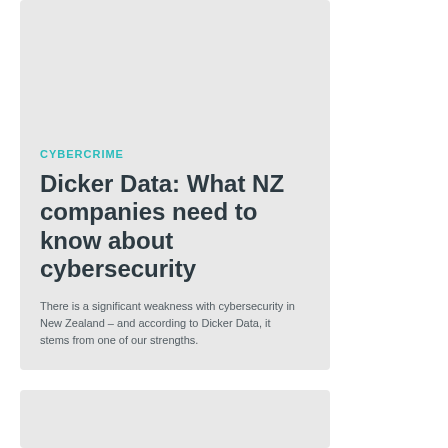CYBERCRIME
Dicker Data: What NZ companies need to know about cybersecurity
There is a significant weakness with cybersecurity in New Zealand – and according to Dicker Data, it stems from one of our strengths.